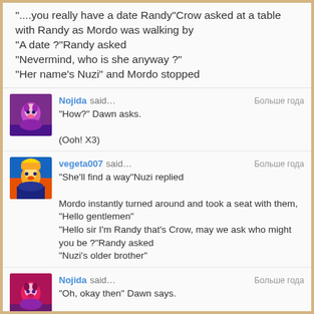"....you really have a date Randy"Crow asked at a table with Randy as Mordo was walking by
"A date ?"Randy asked
"Nevermind, who is she anyway ?"
"Her name's Nuzi" and Mordo stopped
Nojida said… Больше года
"How?" Dawn asks.

(Ooh! X3)
vegeta007 said… Больше года
"She'll find a way"Nuzi replied

Mordo instantly turned around and took a seat with them, "Hello gentlemen"
"Hello sir I'm Randy that's Crow, may we ask who might you be ?"Randy asked
"Nuzi's older brother"
Nojida said… Больше года
"Oh, okay then" Dawn says.